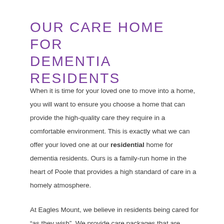OUR CARE HOME FOR DEMENTIA RESIDENTS
When it is time for your loved one to move into a home, you will want to ensure you choose a home that can provide the high-quality care they require in a comfortable environment. This is exactly what we can offer your loved one at our residential home for dementia residents. Ours is a family-run home in the heart of Poole that provides a high standard of care in a homely atmosphere.
At Eagles Mount, we believe in residents being cared for “as they wish”. We provide care packages that are tailored to each resident’s specific needs and abilities, with the resident